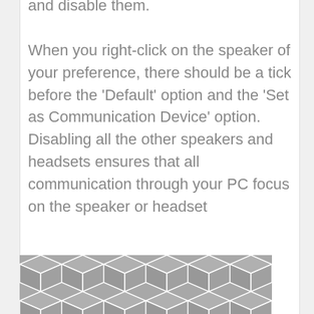and disable them. When you right-click on the speaker of your preference, there should be a tick before the ‘Default’ option and the ‘Set as Communication Device’ option.
Disabling all the other speakers and headsets ensures that all communication through your PC focus on the speaker or headset
[Figure (photo): A grey geometric pattern image showing a repeating 3D cube/hexagon tessellation pattern in grey and white.]